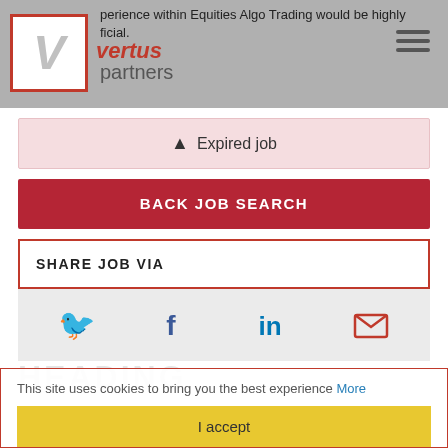perience within Equities Algo Trading would be highly ficial. vertus partners
⚠ Expired job
BACK JOB SEARCH
SHARE JOB VIA
[Figure (other): Social sharing icons: Twitter (bird), Facebook (f), LinkedIn (in), Email (envelope)]
This site uses cookies to bring you the best experience More
I accept